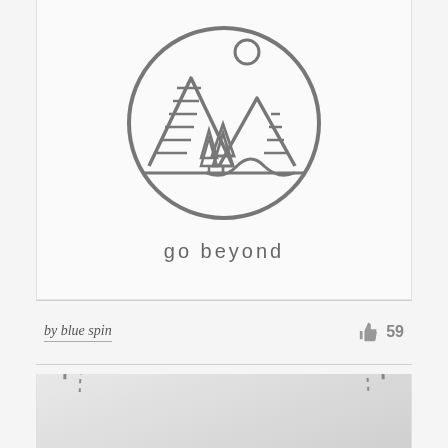[Figure (logo): Circular line-art logo with mountains, pine trees, and sun inside a circle. Text below reads 'go beyond' in spaced sans-serif letters. Gray strokes on white background.]
by blue spin
59
[Figure (logo): Partial view of a circular logo on a gray gradient background, showing a dotted arc/circle outline. Bottom portion of page cut off.]